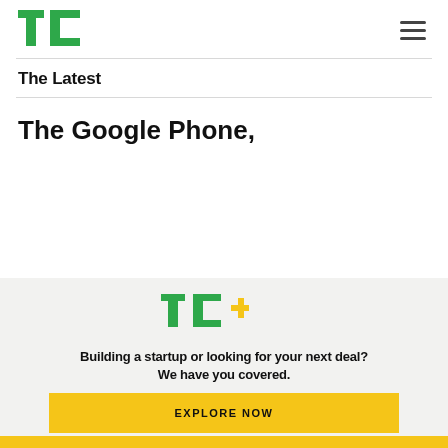TechCrunch
The Latest
The Google Phone,
[Figure (logo): TC+ logo with green TC letters and yellow plus sign]
Building a startup or looking for your next deal? We have you covered.
EXPLORE NOW